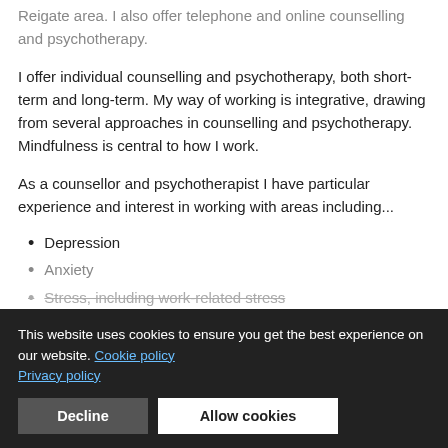Reigate area. I also offer telephone and online counselling and psychotherapy.
I offer individual counselling and psychotherapy, both short-term and long-term. My way of working is integrative, drawing from several approaches in counselling and psychotherapy. Mindfulness is central to how I work.
As a counsellor and psychotherapist I have particular experience and interest in working with areas including...
Depression
Anxiety
Stress, including work-related stress
Relationships and loss
Relationships
Self-esteem
Attachment issues
Social awkwardness
Disabilities (especially sight-related)
This website uses cookies to ensure you get the best experience on our website. Cookie policy Privacy policy
Decline | Allow cookies